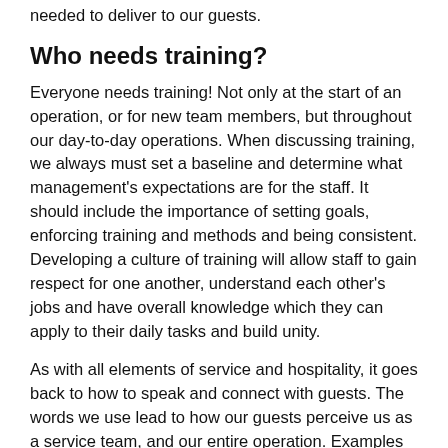needed to deliver to our guests.
Who needs training?
Everyone needs training! Not only at the start of an operation, or for new team members, but throughout our day-to-day operations. When discussing training, we always must set a baseline and determine what management's expectations are for the staff. It should include the importance of setting goals, enforcing training and methods and being consistent. Developing a culture of training will allow staff to gain respect for one another, understand each other's jobs and have overall knowledge which they can apply to their daily tasks and build unity.
As with all elements of service and hospitality, it goes back to how to speak and connect with guests. The words we use lead to how our guests perceive us as a service team, and our entire operation. Examples might include such things as talking about “guests” not “customers” and “team members” not “employees,” using positive words and phrases to drive the process. Additionally, it's not only verbal communication, but the importance of non-verbal communication and the value of a